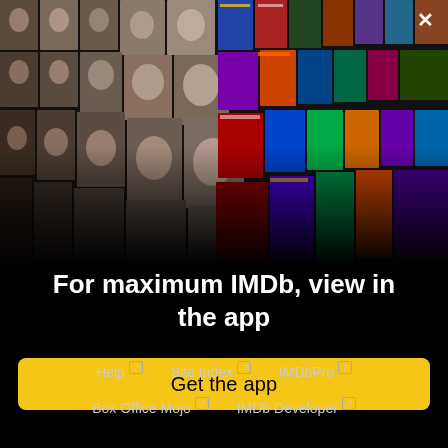[Figure (photo): A 3D perspective mosaic of celebrity headshots on the left side and movie/TV posters on the right side, arranged like a wall converging to a center vanishing point, on a black background. A white X close button is in the top-right corner.]
For maximum IMDb, view in the app
Get the app
Help ↗  Site Index ↗  IMDbPro ↗
Box Office Mojo ↗  IMDb Developer ↗